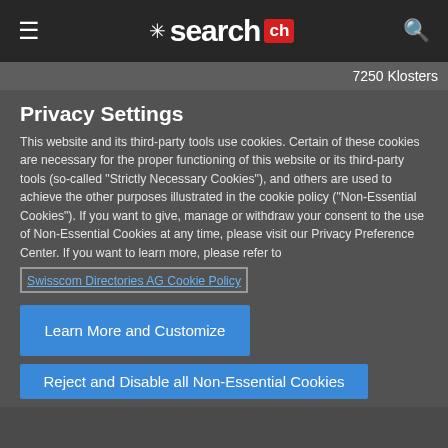search.ch
7250 Klosters
Privacy Settings
This website and its third-party tools use cookies. Certain of these cookies are necessary for the proper functioning of this website or its third-party tools (so-called "Strictly Necessary Cookies"), and others are used to achieve the other purposes illustrated in the cookie policy ("Non-Essential Cookies"). If you want to give, manage or withdraw your consent to the use of Non-Essential Cookies at any time, please visit our Privacy Preference Center. If you want to learn more, please refer to
Swisscom Directories AG Cookie Policy
Learn More and Customize
Reject and Disable all Non-Essential Cookies